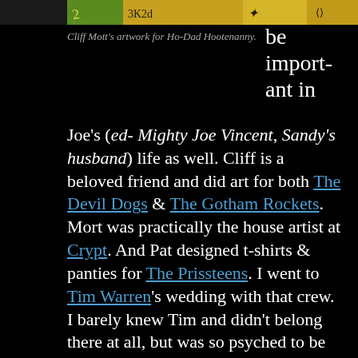[Figure (illustration): Decorative artwork strip by Cliff Mott for Ho-Dad Hootenanny, showing colorful hand-drawn figures on an orange/yellow background]
Cliff Mott's artwork for Ho-Dad Hootenanny.
be important in
Joe's (ed- Mighty Joe Vincent, Sandy's husband) life as well. Cliff is a beloved friend and did art for both The Devil Dogs & The Gotham Rockets. Mort was practically the house artist at Crypt. And Pat designed t-shirts & panties for The Prissteens. I went to Tim Warren's wedding with that crew. I barely knew Tim and didn't belong there at all, but was so psyched to be hanging with the funniest coolest folks I knew. As a wonderful turn of events, the woman Tim married became a good friend and wound up at my wedding to Joe. Anyway, there were so many other great friendships forged in those days. The Maine garage rockers (Jon Horne and